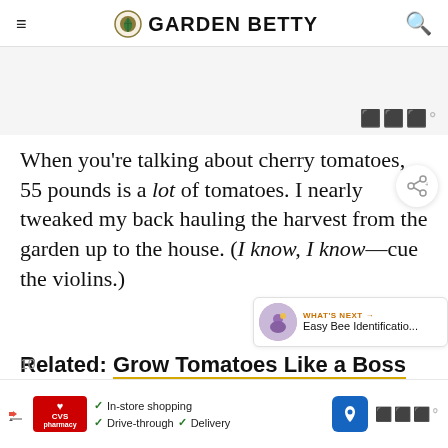GARDEN BETTY
[Figure (other): Advertisement banner placeholder with gray background and watermark symbol]
When you’re talking about cherry tomatoes, 55 pounds is a lot of tomatoes. I nearly tweaked my back hauling the harvest from the garden up to the house. (I know, I know—cue the violins.)
Related: Grow Tomatoes Like a Boss With These
[Figure (other): CVS Pharmacy advertisement banner with in-store shopping, drive-through, and delivery options]